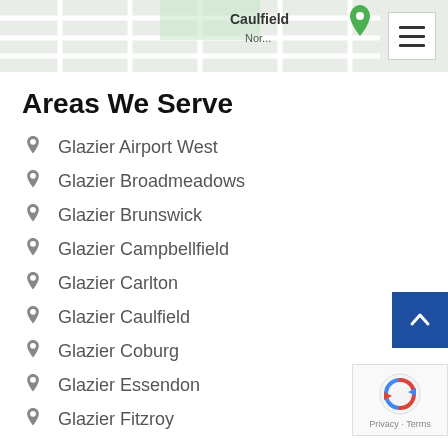[Figure (map): Partial Google map showing street grid with 'Caulfield' label visible at top]
Areas We Serve
Glazier Airport West
Glazier Broadmeadows
Glazier Brunswick
Glazier Campbellfield
Glazier Carlton
Glazier Caulfield
Glazier Coburg
Glazier Essendon
Glazier Fitzroy